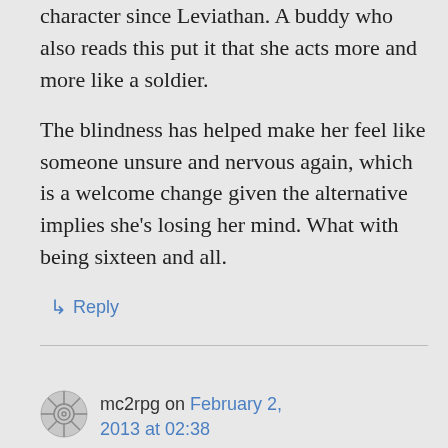character since Leviathan. A buddy who also reads this put it that she acts more and more like a soldier.
The blindness has helped make her feel like someone unsure and nervous again, which is a welcome change given the alternative implies she's losing her mind. What with being sixteen and all.
↳ Reply
mc2rpg on February 2, 2013 at 02:38